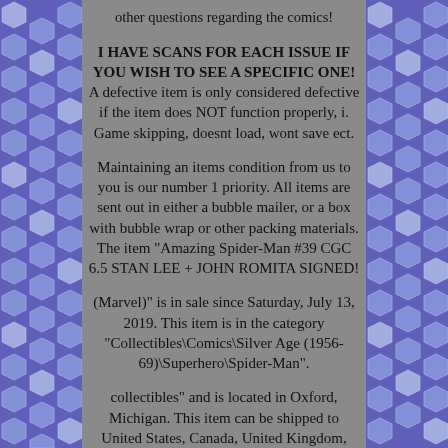other questions regarding the comics!
I HAVE SCANS FOR EACH ISSUE IF YOU WISH TO SEE A SPECIFIC ONE! A defective item is only considered defective if the item does NOT function properly, i. Game skipping, doesnt load, wont save ect.
Maintaining an items condition from us to you is our number 1 priority. All items are sent out in either a bubble mailer, or a box with bubble wrap or other packing materials. The item "Amazing Spider-Man #39 CGC 6.5 STAN LEE + JOHN ROMITA SIGNED!
(Marvel)" is in sale since Saturday, July 13, 2019. This item is in the category "Collectibles\Comics\Silver Age (1956-69)\Superhero\Spider-Man".
collectibles" and is located in Oxford, Michigan. This item can be shipped to United States, Canada, United Kingdom, Denmark, Romania, Slovakia,